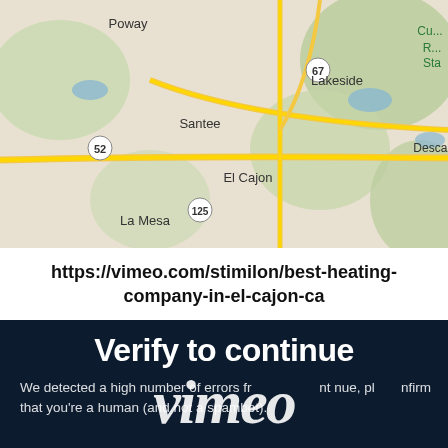[Figure (map): Google Maps screenshot showing East San Diego County area including Poway, Four Corners, Lakeside, Santee, Alpine, El Cajon, La Mesa, Descanso. Highway routes 52, 67, 125, 8 visible.]
https://vimeo.com/stimilon/best-heating-company-in-el-cajon-ca
[Figure (screenshot): Vimeo 'Verify to continue' page with dark navy background. Shows bold white text 'Verify to continue', smaller text 'We detected a high number of errors from your connection. To continue, please confirm that you’re a human (and not a spambot).', with large italic Vimeo logo watermark overlaid.]